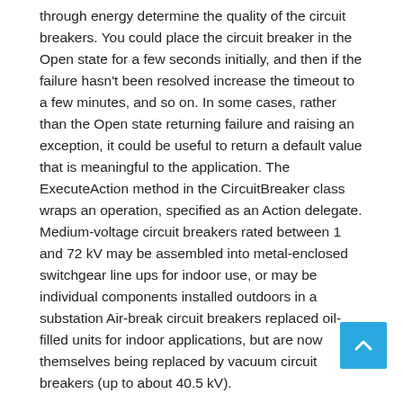through energy determine the quality of the circuit breakers. You could place the circuit breaker in the Open state for a few seconds initially, and then if the failure hasn't been resolved increase the timeout to a few minutes, and so on. In some cases, rather than the Open state returning failure and raising an exception, it could be useful to return a default value that is meaningful to the application. The ExecuteAction method in the CircuitBreaker class wraps an operation, specified as an Action delegate. Medium-voltage circuit breakers rated between 1 and 72 kV may be assembled into metal-enclosed switchgear line ups for indoor use, or may be individual components installed outdoors in a substation Air-break circuit breakers replaced oil-filled units for indoor applications, but are now themselves being replaced by vacuum circuit breakers (up to about 40.5 kV).
Santon has developed Sidunn conversion sets for the installation of new Merlin Gerin Masterpact NT or NW circuit- breakers in existing distribution equipment for the replacement of obsolete circuit-breakers. Our circuit breakers are applied in panelboards, switchboards, motor control centers, control panels, combination